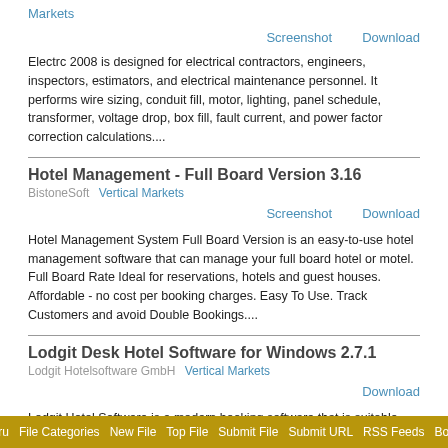Markets
Screenshot   Download
Electrc 2008 is designed for electrical contractors, engineers, inspectors, estimators, and electrical maintenance personnel. It performs wire sizing, conduit fill, motor, lighting, panel schedule, transformer, voltage drop, box fill, fault current, and power factor correction calculations....
Hotel Management - Full Board Version 3.16
BistoneSoft   Vertical Markets
Screenshot   Download
Hotel Management System Full Board Version is an easy-to-use hotel management software that can manage your full board hotel or motel. Full Board Rate Ideal for reservations, hotels and guest houses. Affordable - no cost per booking charges. Easy To Use. Track Customers and avoid Double Bookings....
Lodgit Desk Hotel Software for Windows 2.7.1
Lodgit Hotelsoftware GmbH   Vertical Markets
Download
Lodgit Hotel Software is a modern booking software that is suitable especially for small or middle-sized lodging establishments. The integrated SQL database allows for any number of rentable units in different objects to be managed. Lodgit Hotel Software makes managing accommodations in hotels,...
File Guru  File Categories  New File  Top File  Submit File  Submit URL  RSS Feeds  Bookmark